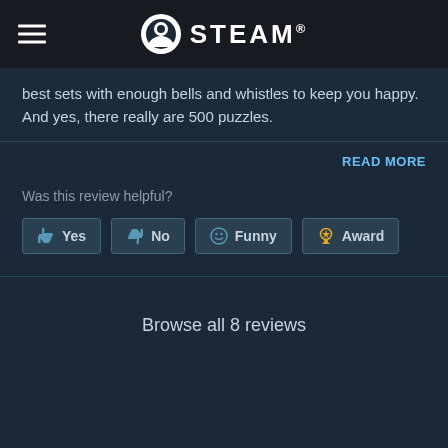STEAM®
best sets with enough bells and whistles to keep you happy. And yes, there really are 500 puzzles.
READ MORE
Was this review helpful?
Yes  No  Funny  Award
Browse all 8 reviews